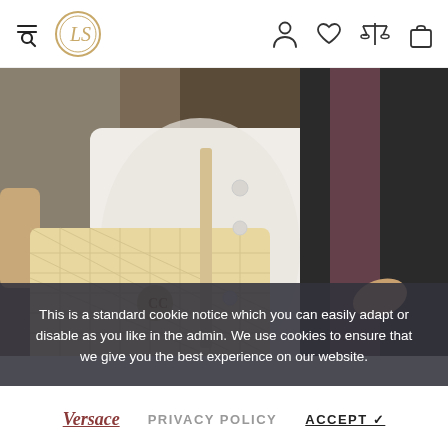Navigation bar with hamburger/search icon, LS logo, person icon, heart icon, scale/compare icon, bag icon
[Figure (photo): Close-up photograph of a person wearing a white jacket and carrying a beige/cream quilted Chanel shoulder bag with gold CC logo hardware. Another person in a dark suit is partially visible on the right.]
This is a standard cookie notice which you can easily adapt or disable as you like in the admin. We use cookies to ensure that we give you the best experience on our website.
Versace   PRIVACY POLICY   ACCEPT ✓